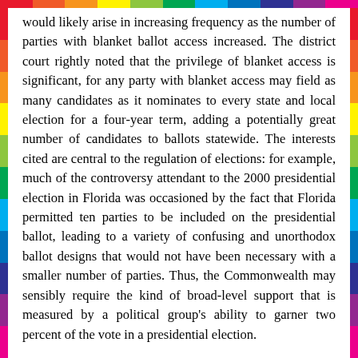would likely arise in increasing frequency as the number of parties with blanket ballot access increased. The district court rightly noted that the privilege of blanket access is significant, for any party with blanket access may field as many candidates as it nominates to every state and local election for a four-year term, adding a potentially great number of candidates to ballots statewide. The interests cited are central to the regulation of elections: for example, much of the controversy attendant to the 2000 presidential election in Florida was occasioned by the fact that Florida permitted ten parties to be included on the presidential ballot, leading to a variety of confusing and unorthodox ballot designs that would not have been necessary with a smaller number of parties. Thus, the Commonwealth may sensibly require the kind of broad-level support that is measured by a political group's ability to garner two percent of the vote in a presidential election.